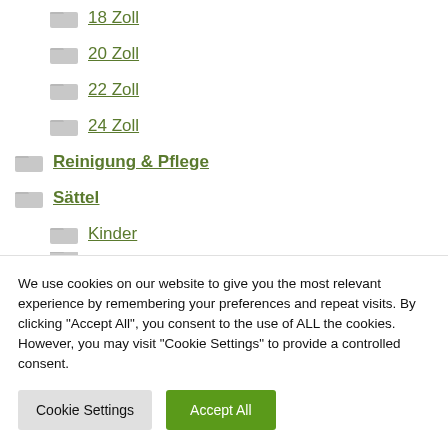18 Zoll
20 Zoll
22 Zoll
24 Zoll
Reinigung & Pflege
Sättel
Kinder
We use cookies on our website to give you the most relevant experience by remembering your preferences and repeat visits. By clicking "Accept All", you consent to the use of ALL the cookies. However, you may visit "Cookie Settings" to provide a controlled consent.
Cookie Settings  Accept All